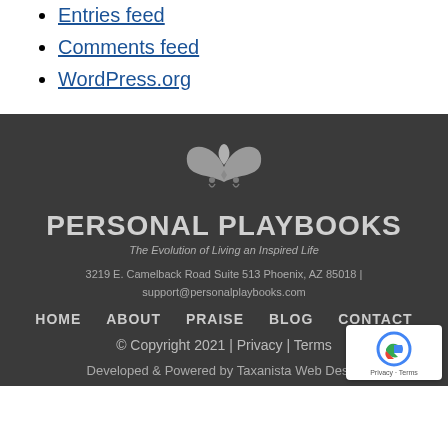Entries feed
Comments feed
WordPress.org
[Figure (logo): Personal Playbooks logo — stylized butterfly/book shape in light grey on dark background]
PERSONAL PLAYBOOKS
The Evolution of Living an Inspired Life
3219 E. Camelback Road Suite 513 Phoenix, AZ 85018 | support@personalplaybooks.com
HOME   ABOUT   PRAISE   BLOG   CONTACT
© Copyright 2021 | Privacy | Terms
Developed & Powered by Taxanista Web Design